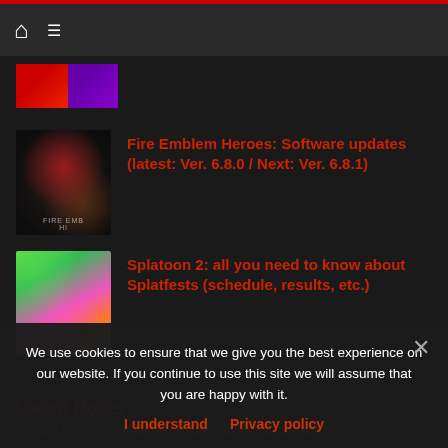Navigation bar with home icon and menu icon
[Figure (screenshot): Partial thumbnail strip showing red and purple game art]
[Figure (screenshot): Fire Emblem Heroes game thumbnail with dark radial art]
Fire Emblem Heroes: Software updates (latest: Ver. 6.8.0 / Next: Ver. 6.8.1)
[Figure (screenshot): Splatoon 2 game thumbnail with colorful characters]
Splatoon 2: all you need to know about Splatfests (schedule, results, etc.)
Latest Posts
Super Mario Run: Everything Becomes 3 September 2022
We use cookies to ensure that we give you the best experience on our website. If you continue to use this site we will assume that you are happy with it.
I understand  Privacy policy